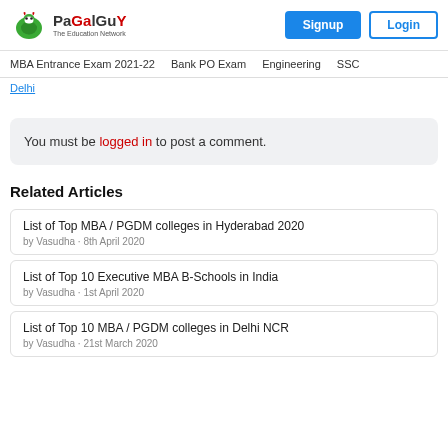PaGaLGuY - The Education Network | Signup | Login
MBA Entrance Exam 2021-22 | Bank PO Exam | Engineering | SSC
Delhi
You must be logged in to post a comment.
Related Articles
List of Top MBA / PGDM colleges in Hyderabad 2020
by Vasudha · 8th April 2020
List of Top 10 Executive MBA B-Schools in India
by Vasudha · 1st April 2020
List of Top 10 MBA / PGDM colleges in Delhi NCR
by Vasudha · 21st March 2020